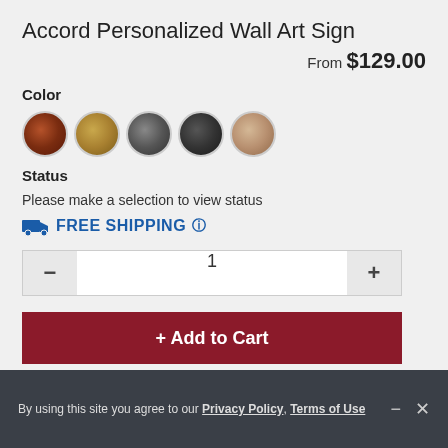Accord Personalized Wall Art Sign
From $129.00
Color
[Figure (other): Five color swatch circles: rust/brown, gold/tan, black speckled, dark charcoal, light tan]
Status
Please make a selection to view status
FREE SHIPPING
1
+ Add to Cart
You Might Also Consider
By using this site you agree to our Privacy Policy, Terms of Use